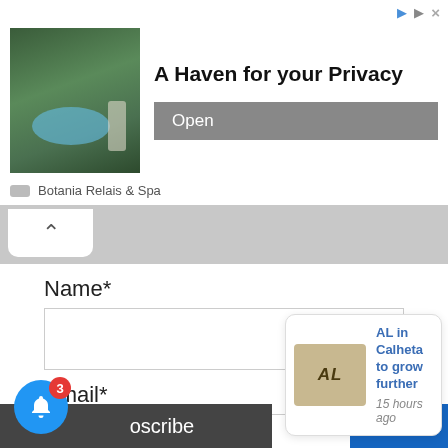[Figure (other): Advertisement banner for Botania Relais & Spa showing a garden/pool photo, headline 'A Haven for your Privacy', and an Open button]
Botania Relais & Spa
[Figure (other): Collapsible tab with caret/up arrow on grey bar]
Name*
Email*
Are You a Human? 9 + 3 =
Subscribe
[Figure (other): Notification popup showing 'AL in Calheta to grow further' with thumbnail and '15 hours ago' timestamp]
Translate »